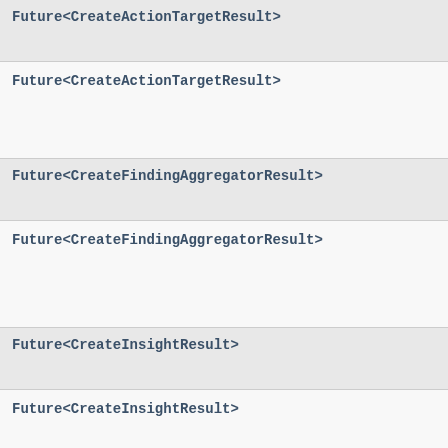Future<CreateActionTargetResult>
Future<CreateActionTargetResult>
Future<CreateFindingAggregatorResult>
Future<CreateFindingAggregatorResult>
Future<CreateInsightResult>
Future<CreateInsightResult>
Future<CreateMembersResult>